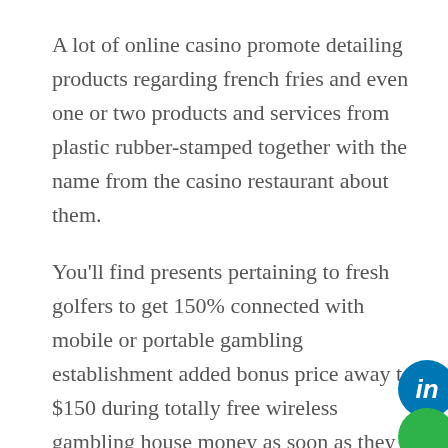A lot of online casino promote detailing products regarding french fries and even one or two products and services from plastic rubber-stamped together with the name from the casino restaurant about them.
You'll find presents pertaining to fresh golfers to get 150% connected with mobile or portable gambling establishment added bonus price away to $150 during totally free wireless gambling house money as soon as they earn the initially deposit. These types of a huge selection of snacks are actually discovered throughout many suppliers who market offers up card game often.